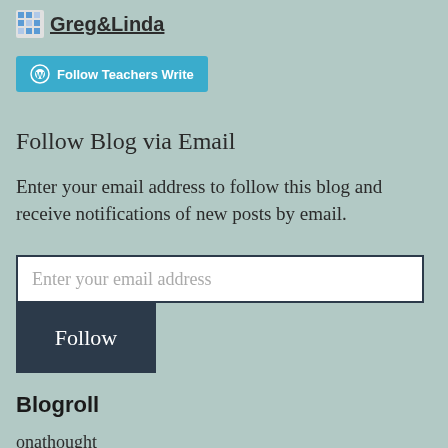Greg&Linda
[Figure (other): Follow Teachers Write button with WordPress icon]
Follow Blog via Email
Enter your email address to follow this blog and receive notifications of new posts by email.
Enter your email address
Follow
Blogroll
onathought
Teaching From an Empty Nest